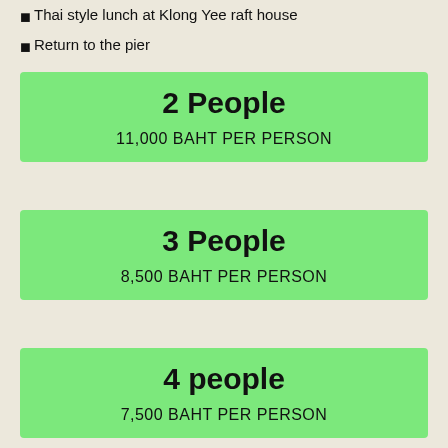Thai style lunch at Klong Yee raft house
Return to the pier
2 People
11,000 BAHT PER PERSON
3 People
8,500 BAHT PER PERSON
4 people
7,500 BAHT PER PERSON